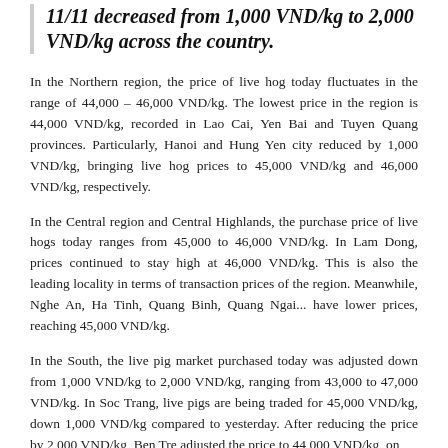11/11 decreased from 1,000 VND/kg to 2,000 VND/kg across the country.
In the Northern region, the price of live hog today fluctuates in the range of 44,000 – 46,000 VND/kg. The lowest price in the region is 44,000 VND/kg, recorded in Lao Cai, Yen Bai and Tuyen Quang provinces. Particularly, Hanoi and Hung Yen city reduced by 1,000 VND/kg, bringing live hog prices to 45,000 VND/kg and 46,000 VND/kg, respectively.
In the Central region and Central Highlands, the purchase price of live hogs today ranges from 45,000 to 46,000 VND/kg. In Lam Dong, prices continued to stay high at 46,000 VND/kg. This is also the leading locality in terms of transaction prices of the region. Meanwhile, Nghe An, Ha Tinh, Quang Binh, Quang Ngai... have lower prices, reaching 45,000 VND/kg.
In the South, the live pig market purchased today was adjusted down from 1,000 VND/kg to 2,000 VND/kg, ranging from 43,000 to 47,000 VND/kg. In Soc Trang, live pigs are being traded for 45,000 VND/kg, down 1,000 VND/kg compared to yesterday. After reducing the price by 2,000 VND/kg, Ben Tre adjusted the price to 44,000 VND/kg, on